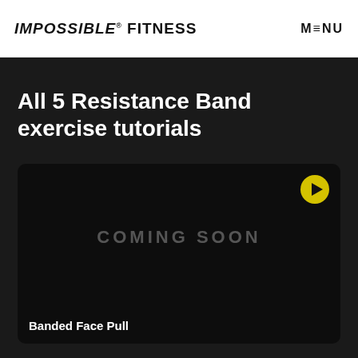IMPOSSIBLE® FITNESS   MENU
All 5 Resistance Band exercise tutorials
[Figure (screenshot): Video thumbnail card with 'COMING SOON' text in center, a yellow play button icon in top-right corner, and label 'Banded Face Pull' at the bottom left.]